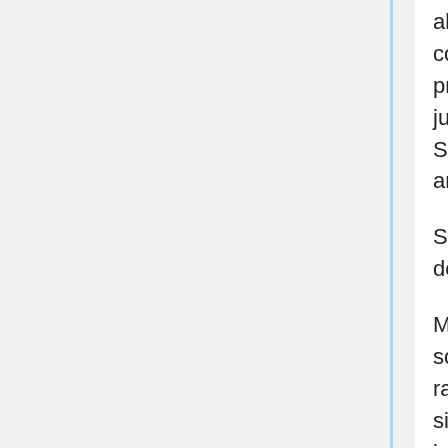always been a self-identified skeptic. When I first went to college, I remember that I read Freakonomics, that was probably the first pop-science book that I read, and then it just kinda grew out of that. I was actually listening to Skeptoid before the SGU, but then I discovered the SGU and went back and listened to the whole archives.
S: So you are a long-time rap artist. How would you describe the style of your music, by the way?
M: I'd call it nerd-core, probably. But I think that might be something of a misnomer. I'm just starting to get into rapping about critical thinking and science and my nerdier side. A lot of it is much more personal and emotional. Head in the Cloud is really much more